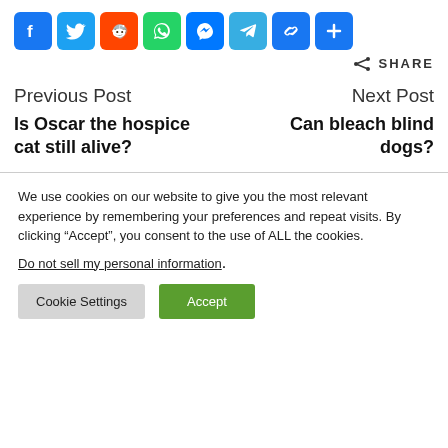[Figure (infographic): Row of social media sharing icons: Facebook (blue), Twitter (blue), Reddit (orange), WhatsApp (green), Messenger (blue), Telegram (blue), copy link (blue), and a plus/more button (blue)]
SHARE
Previous Post
Next Post
Is Oscar the hospice cat still alive?
Can bleach blind dogs?
We use cookies on our website to give you the most relevant experience by remembering your preferences and repeat visits. By clicking “Accept”, you consent to the use of ALL the cookies.
Do not sell my personal information.